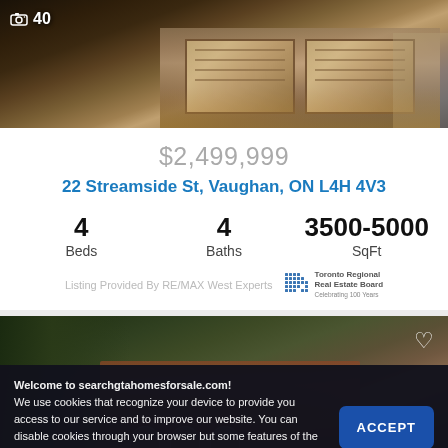[Figure (photo): Exterior photo of a large residential home with two garage doors, taken at dusk/sunset, with a camera icon and photo count overlay showing 40 photos]
$2,499,999
22 Streamside St, Vaughan, ON L4H 4V3
| 4
Beds | 4
Baths | 3500-5000
SqFt |
Listing Provided By RE/MAX West Experts
[Figure (photo): Exterior photo of a large brick residential home surrounded by mature trees, with a heart/favorite icon in the top right corner]
Welcome to searchgtahomesforsale.com!
We use cookies that recognize your device to provide you access to our service and to improve our website. You can disable cookies through your browser but some features of the site will no longer be available. To read our Privacy Policy, click here.